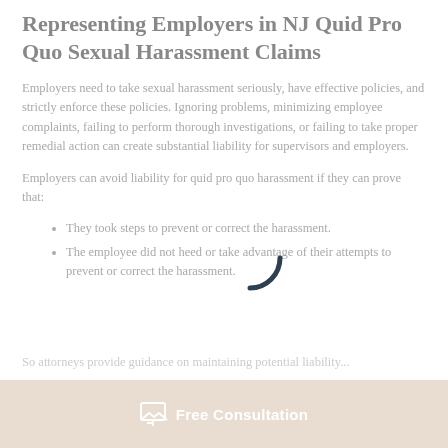Representing Employers in NJ Quid Pro Quo Sexual Harassment Claims
Employers need to take sexual harassment seriously, have effective policies, and strictly enforce these policies. Ignoring problems, minimizing employee complaints, failing to perform thorough investigations, or failing to take proper remedial action can create substantial liability for supervisors and employers.
Employers can avoid liability for quid pro quo harassment if they can prove that:
They took steps to prevent or correct the harassment.
The employee did not heed or take advantage of their attempts to prevent or correct the harassment.
Free Consultation